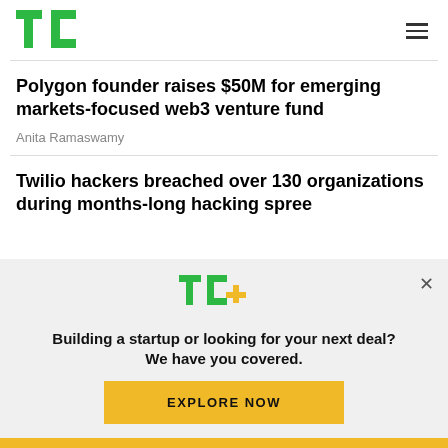TechCrunch logo and navigation
Polygon founder raises $50M for emerging markets-focused web3 venture fund
Anita Ramaswamy
Twilio hackers breached over 130 organizations during months-long hacking spree
[Figure (other): TechCrunch+ promotional banner with TC+ logo, text 'Building a startup or looking for your next deal? We have you covered.' and an EXPLORE NOW button]